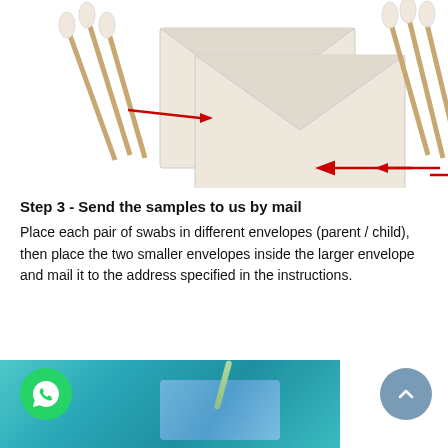[Figure (illustration): Two cream-colored envelopes overlapping with cotton swabs on left and right sides, and red arrows pointing toward each envelope indicating where to place swabs.]
Step 3 - Send the samples to us by mail
Place each pair of swabs in different envelopes (parent / child), then place the two smaller envelopes inside the larger envelope and mail it to the address specified in the instructions.
[Figure (photo): A person in blue medical gloves and a lab coat using a pipette over a small sample container, with a WhatsApp icon button on the lower left and a blue scroll-to-top button on the lower right.]